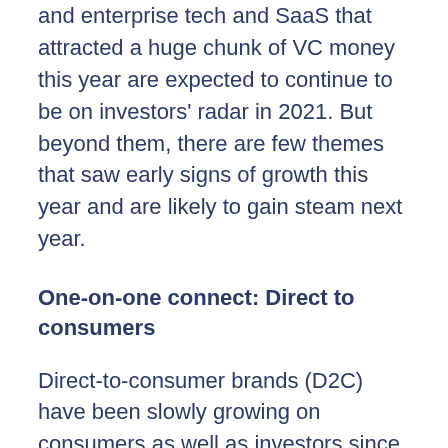and enterprise tech and SaaS that attracted a huge chunk of VC money this year are expected to continue to be on investors' radar in 2021. But beyond them, there are few themes that saw early signs of growth this year and are likely to gain steam next year.
One-on-one connect: Direct to consumers
Direct-to-consumer brands (D2C) have been slowly growing on consumers as well as investors since the last couple of years. This year was special for them as when consumers diverted their offline...